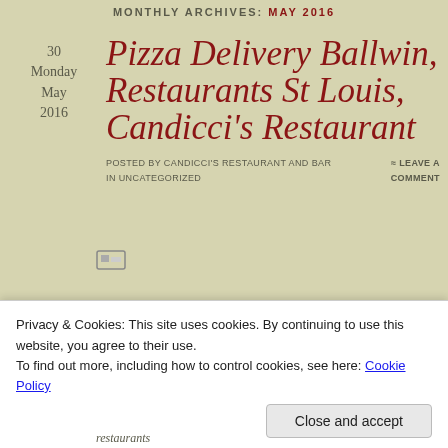MONTHLY ARCHIVES: MAY 2016
30
Monday
May
2016
Pizza Delivery Ballwin, Restaurants St Louis, Candicci's Restaurant
Posted by Candicci's Restaurant and Bar in Uncategorized ≈ Leave a comment
Privacy & Cookies: This site uses cookies. By continuing to use this website, you agree to their use.
To find out more, including how to control cookies, see here: Cookie Policy
Close and accept
restaurants